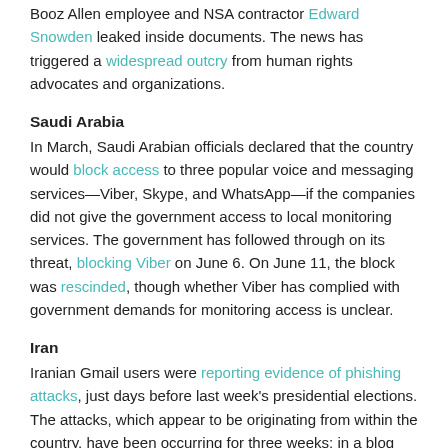Booz Allen employee and NSA contractor Edward Snowden leaked inside documents. The news has triggered a widespread outcry from human rights advocates and organizations.
Saudi Arabia
In March, Saudi Arabian officials declared that the country would block access to three popular voice and messaging services—Viber, Skype, and WhatsApp—if the companies did not give the government access to local monitoring services. The government has followed through on its threat, blocking Viber on June 6. On June 11, the block was rescinded, though whether Viber has complied with government demands for monitoring access is unclear.
Iran
Iranian Gmail users were reporting evidence of phishing attacks, just days before last week's presidential elections. The attacks, which appear to be originating from within the country, have been occurring for three weeks; in a blog post, Google Vice President of Security Engineering